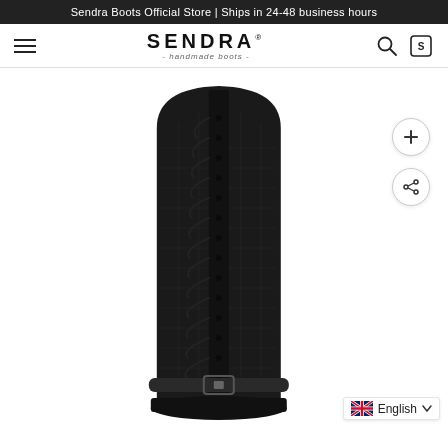Sendra Boots Official Store | Ships in 24-48 business hours
[Figure (logo): Sendra handmade boots logo with hamburger menu, search and cart icons in navigation bar]
[Figure (photo): Black tall lace-up leather boot with grid-embossed upper shaft, back lacing, eyelets, and buckle strap near ankle, on white background]
English